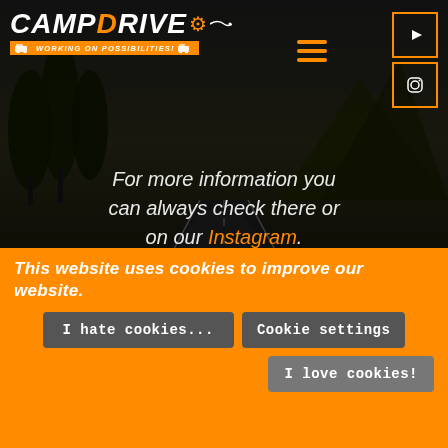[Figure (screenshot): Website screenshot of CampDrive with dark mountain road background. Header has CampDrive logo with orange text, hamburger menu, YouTube and Instagram icon boxes, and cart icon.]
For more information you can always check there or on our Instagram.
This website uses cookies to improve our website.
I hate cookies...
Cookie settings
I love cookies!